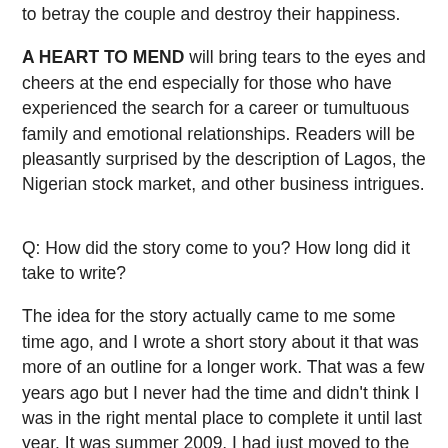to betray the couple and destroy their happiness.
A HEART TO MEND will bring tears to the eyes and cheers at the end especially for those who have experienced the search for a career or tumultuous family and emotional relationships. Readers will be pleasantly surprised by the description of Lagos, the Nigerian stock market, and other business intrigues.
Q: How did the story come to you? How long did it take to write?
The idea for the story actually came to me some time ago, and I wrote a short story about it that was more of an outline for a longer work. That was a few years ago but I never had the time and didn't think I was in the right mental place to complete it until last year. It was summer 2009. I had just moved to the United States and I was in love for the first time in my life. I decided to dust up the story and try my hand at full time writing. I finished the story in one month. It took me